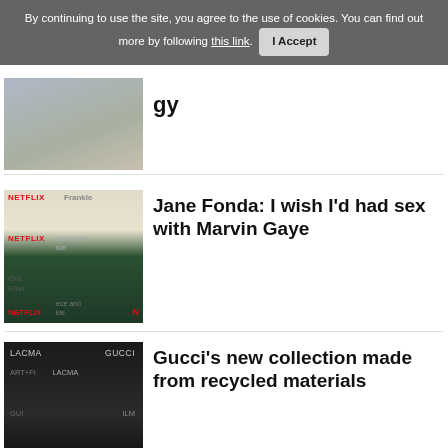By continuing to use the site, you agree to the use of cookies. You can find out more by following this link.  I Accept
[Figure (photo): Partial woman in floral dress on red carpet]
...gy...
[Figure (photo): Jane Fonda at Netflix Grace and Frankie event]
Jane Fonda: I wish I'd had sex with Marvin Gaye
[Figure (photo): Man at LACMA GUCCI Art+Film event]
Gucci's new collection made from recycled materials